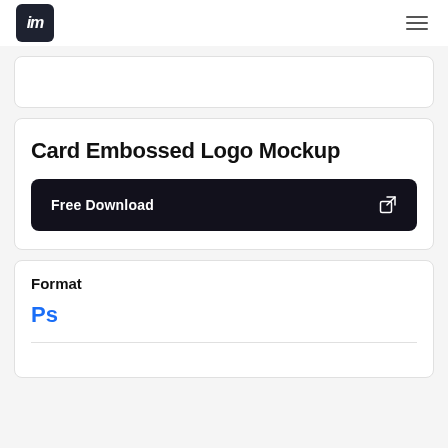[Figure (logo): Dark square logo with letter 'm' in italic white, top-left. Hamburger menu icon top-right.]
Card Embossed Logo Mockup
Free Download
Format
Ps